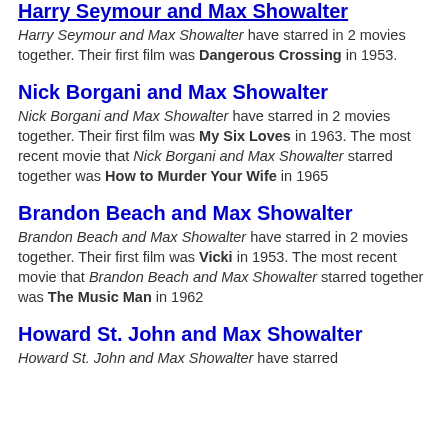Harry Seymour and Max Showalter
Harry Seymour and Max Showalter have starred in 2 movies together. Their first film was Dangerous Crossing in 1953.
Nick Borgani and Max Showalter
Nick Borgani and Max Showalter have starred in 2 movies together. Their first film was My Six Loves in 1963. The most recent movie that Nick Borgani and Max Showalter starred together was How to Murder Your Wife in 1965
Brandon Beach and Max Showalter
Brandon Beach and Max Showalter have starred in 2 movies together. Their first film was Vicki in 1953. The most recent movie that Brandon Beach and Max Showalter starred together was The Music Man in 1962
Howard St. John and Max Showalter
Howard St. John and Max Showalter have starred